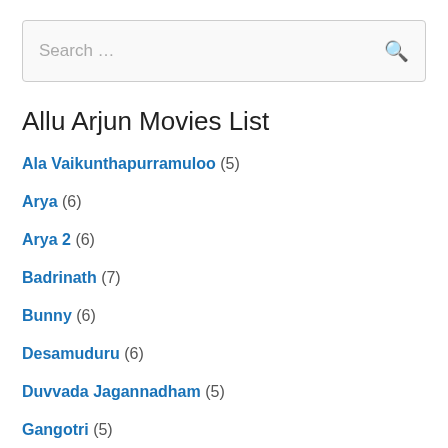[Figure (screenshot): Search bar with placeholder text 'Search ...' and a search icon on the right]
Allu Arjun Movies List
Ala Vaikunthapurramuloo (5)
Arya (6)
Arya 2 (6)
Badrinath (7)
Bunny (6)
Desamuduru (6)
Duvvada Jagannadham (5)
Gangotri (5)
Happy (6)